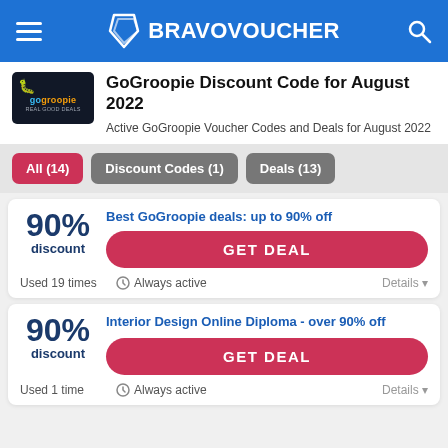BRAVOVOUCHER
GoGroopie Discount Code for August 2022
Active GoGroopie Voucher Codes and Deals for August 2022
All (14)
Discount Codes (1)
Deals (13)
Best GoGroopie deals: up to 90% off
90% discount
GET DEAL
Used 19 times  Always active  Details
Interior Design Online Diploma - over 90% off
90% discount
GET DEAL
Used 1 time  Always active  Details